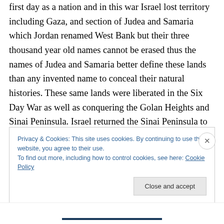first day as a nation and in this war Israel lost territory including Gaza, and section of Judea and Samaria which Jordan renamed West Bank but their three thousand year old names cannot be erased thus the names of Judea and Samaria better define these lands than any invented name to conceal their natural histories. These same lands were liberated in the Six Day War as well as conquering the Golan Heights and Sinai Peninsula. Israel returned the Sinai Peninsula to Egypt who refused to resume their claims to Gaza returning these lands to Israeli rule.
Privacy & Cookies: This site uses cookies. By continuing to use this website, you agree to their use. To find out more, including how to control cookies, see here: Cookie Policy